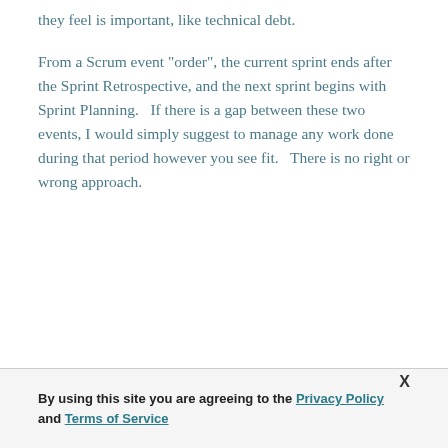they feel is important, like technical debt.
From a Scrum event "order", the current sprint ends after the Sprint Retrospective, and the next sprint begins with Sprint Planning.   If there is a gap between these two events, I would simply suggest to manage any work done during that period however you see fit.   There is no right or wrong approach.
By using this site you are agreeing to the Privacy Policy and Terms of Service